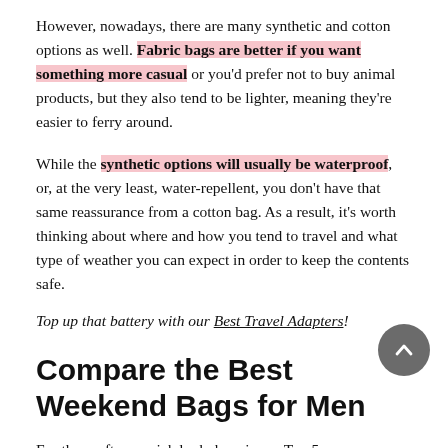However, nowadays, there are many synthetic and cotton options as well. Fabric bags are better if you want something more casual or you'd prefer not to buy animal products, but they also tend to be lighter, meaning they're easier to ferry around.
While the synthetic options will usually be waterproof, or, at the very least, water-repellent, you don't have that same reassurance from a cotton bag. As a result, it's worth thinking about where and how you tend to travel and what type of weather you can expect in order to keep the contents safe.
Top up that battery with our Best Travel Adapters!
Compare the Best Weekend Bags for Men
For those after a quick look, here is our Top 5: